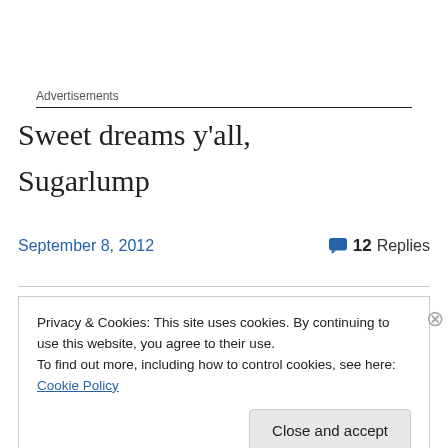Advertisements
Sweet dreams y'all,
Sugarlump
September 8, 2012
💬 12 Replies
Privacy & Cookies: This site uses cookies. By continuing to use this website, you agree to their use.
To find out more, including how to control cookies, see here: Cookie Policy
Close and accept